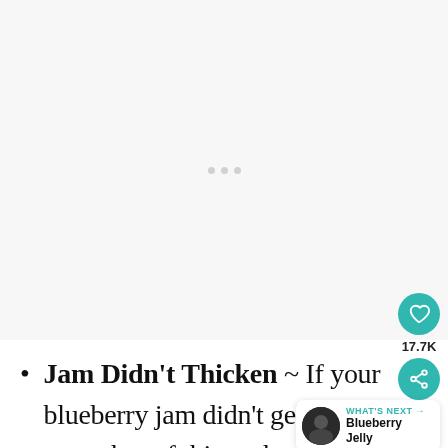[Figure (other): Large blank/loading advertisement placeholder area with three small grey dots in the center. A teal heart button showing 17.7K and a teal share button are overlaid on the right side.]
Jam Didn't Thicken ~ If your blueberry jam didn't gel, th[ere are a] number of things that could be at